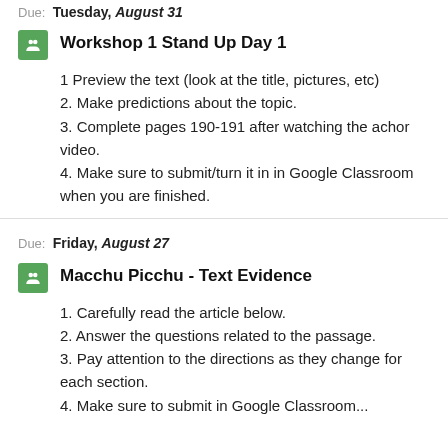Due: Tuesday, August 31
[Figure (logo): Green Google Classroom icon]
Workshop 1 Stand Up Day 1
1 Preview the text (look at the title, pictures, etc)
2. Make predictions about the topic.
3. Complete pages 190-191 after watching the achor video.
4. Make sure to submit/turn it in in Google Classroom when you are finished.
Due: Friday, August 27
[Figure (logo): Green Google Classroom icon]
Macchu Picchu - Text Evidence
1. Carefully read the article below.
2. Answer the questions related to the passage.
3. Pay attention to the directions as they change for each section.
4. Make sure to submit in Google Classroom...